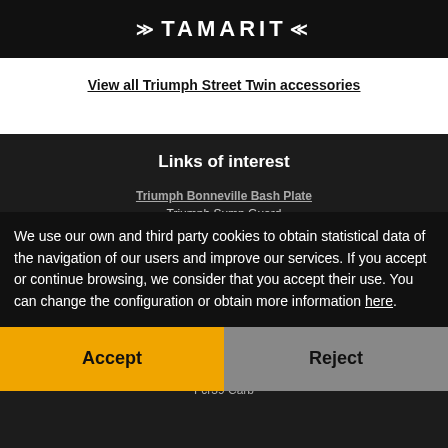TAMARIT
View all Triumph Street Twin accessories
Links of interest
Triumph Bonneville Bash Plate
Triumph Sump Guard
Triumph Scrambler Skid Plate
Triumph Street Scrambler Sump Guard
Triumph Scrambler Accessories
Motoscope Pro
Edit Filters
Triumph Headlight Cover
Triumph Bobber Seat
Fcr39 Carb
We use our own and third party cookies to obtain statistical data of the navigation of our users and improve our services. If you accept or continue browsing, we consider that you accept their use. You can change the configuration or obtain more information here.
Accept
Reject